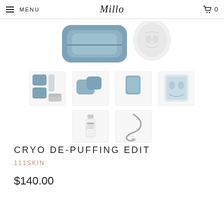MENU | Millo | 0
[Figure (photo): Product image gallery for Cryo De-Puffing Edit by 111SKIN showing a blue pouch with various skincare products, masks, a serum bottle, and charging cables arranged in thumbnail views.]
CRYO DE-PUFFING EDIT
111SKIN
$140.00